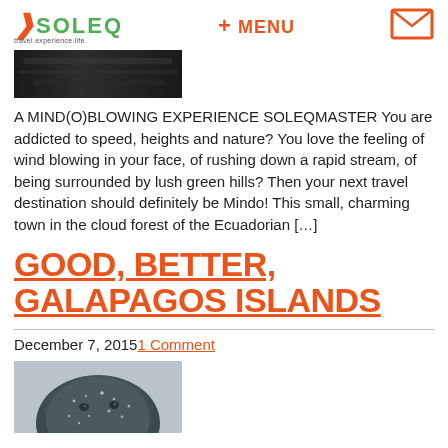YSOLEQ + MENU [envelope icon]
[Figure (photo): Dark textured thumbnail image, possibly rock or animal fur]
A MIND(O)BLOWING EXPERIENCE SOLEQMASTER You are addicted to speed, heights and nature? You love the feeling of wind blowing in your face, of rushing down a rapid stream, of being surrounded by lush green hills? Then your next travel destination should definitely be Mindo! This small, charming town in the cloud forest of the Ecuadorian […]
GOOD, BETTER, GALAPAGOS ISLANDS
December 7, 2015   1 Comment
[Figure (photo): Close-up photo of a Galapagos sea lion or marine iguana head covered in sand/salt]